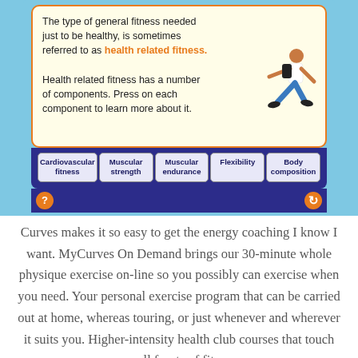[Figure (screenshot): Screenshot of an educational interactive showing health related fitness components. Top yellow box with orange border contains text about health related fitness and a runner illustration. Below are five buttons: Cardiovascular fitness, Muscular strength, Muscular endurance, Flexibility, Body composition. Navigation bar with orange question mark and back arrow circles at bottom. Background is light blue.]
Curves makes it so easy to get the energy coaching I know I want. MyCurves On Demand brings our 30-minute whole physique exercise on-line so you possibly can exercise when you need. Your personal exercise program that can be carried out at home, whereas touring, or just whenever and wherever it suits you. Higher-intensity health club courses that touch on all facets of fitness